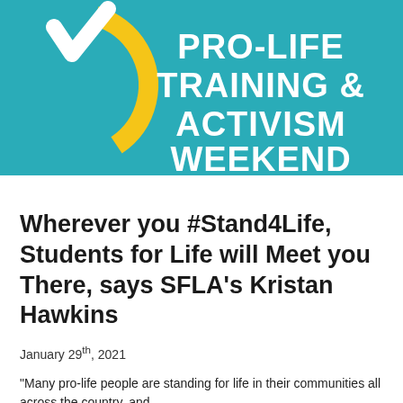[Figure (illustration): Teal banner with yellow arc/smile graphic on left and white bold text reading PRO-LIFE TRAINING & ACTIVISM WEEKEND]
Wherever you #Stand4Life, Students for Life will Meet you There, says SFLA's Kristan Hawkins
January 29th, 2021
“Many pro-life people are standing for life in their communities all across the country, and